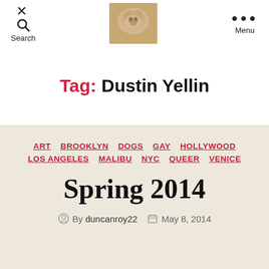Search | [dog image] | Menu
Tag: Dustin Yellin
ART  BROOKLYN  DOGS  GAY  HOLLYWOOD  LOS ANGELES  MALIBU  NYC  QUEER  VENICE
Spring 2014
By duncanroy22   May 8, 2014